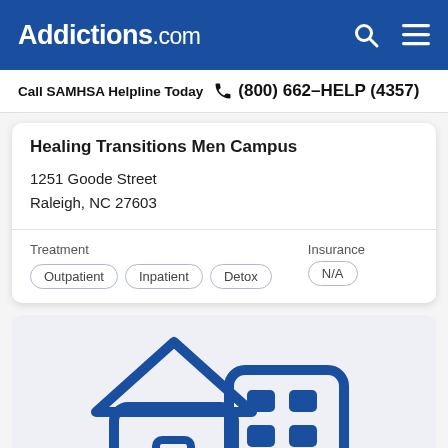Addictions.com
Call SAMHSA Helpline Today  (800) 662-HELP (4357)
Healing Transitions Men Campus
1251 Goode Street
Raleigh, NC 27603
| Treatment | Insurance |
| --- | --- |
| Outpatient  Inpatient  Detox | N/A |
[Figure (illustration): Icon illustration of a residential house and a multi-story building, rendered in blue outline style on a light gray background, representing treatment facility types.]